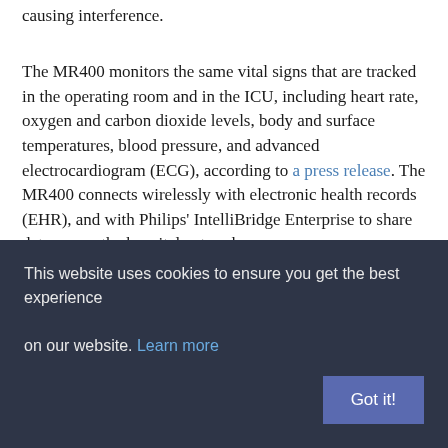causing interference.
The MR400 monitors the same vital signs that are tracked in the operating room and in the ICU, including heart rate, oxygen and carbon dioxide levels, body and surface temperatures, blood pressure, and advanced electrocardiogram (ECG), according to a press release. The MR400 connects wirelessly with electronic health records (EHR), and with Philips' IntelliBridge Enterprise to share data across the hospital network.
Interoperability across the network remains a challenge for hospitals and health systems, and one of Philips' solutions is a system that can integrate patient data from disparate sources
This website uses cookies to ensure you get the best experience on our website. Learn more